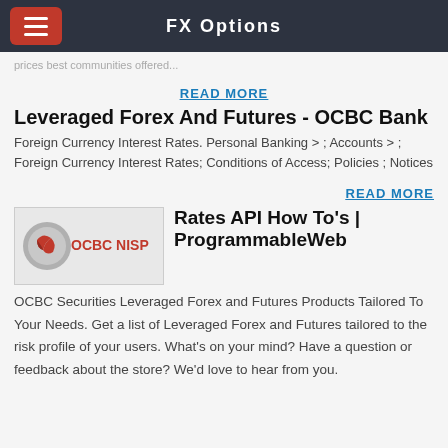FX Options
...prices best communities offered...
READ MORE
Leveraged Forex And Futures - OCBC Bank
Foreign Currency Interest Rates. Personal Banking > ; Accounts > ; Foreign Currency Interest Rates; Conditions of Access; Policies ; Notices
READ MORE
[Figure (logo): OCBC NISP logo — red circular emblem with OCBC NISP text]
Rates API How To's | ProgrammableWeb
OCBC Securities Leveraged Forex and Futures Products Tailored To Your Needs. Get a list of Leveraged Forex and Futures tailored to the risk profile of your users. What's on your mind? Have a question or feedback about the store? We'd love to hear from you.